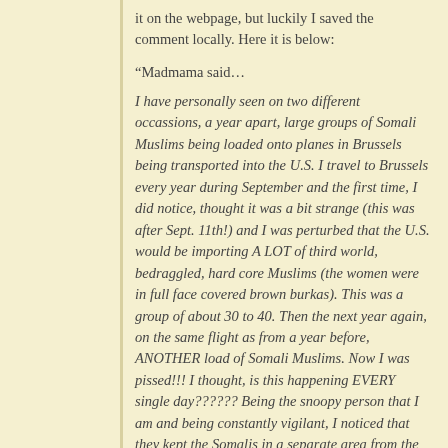it on the webpage, but luckily I saved the comment locally. Here it is below:
“Madmama said…
I have personally seen on two different occassions, a year apart, large groups of Somali Muslims being loaded onto planes in Brussels being transported into the U.S. I travel to Brussels every year during September and the first time, I did notice, thought it was a bit strange (this was after Sept. 11th!) and I was perturbed that the U.S. would be importing A LOT of third world, bedraggled, hard core Muslims (the women were in full face covered brown burkas). This was a group of about 30 to 40. Then the next year again, on the same flight as from a year before, ANOTHER load of Somali Muslims. Now I was pissed!!! I thought, is this happening EVERY single day?????? Being the snoopy person that I am and being constantly vigilant, I noticed that they kept the Somalis in a separate area from the other people on the plane….they didn’t want anyone to notice.